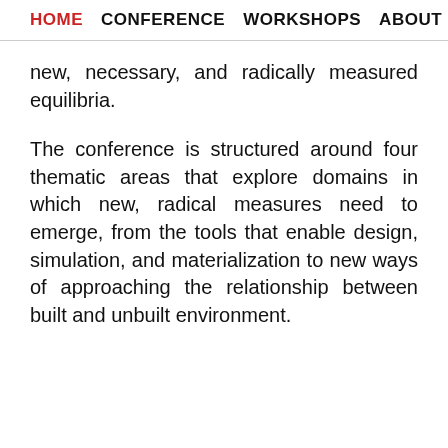HOME  CONFERENCE  WORKSHOPS  ABOUT
new, necessary, and radically measured equilibria.
The conference is structured around four thematic areas that explore domains in which new, radical measures need to emerge, from the tools that enable design, simulation, and materialization to new ways of approaching the relationship between built and unbuilt environment.